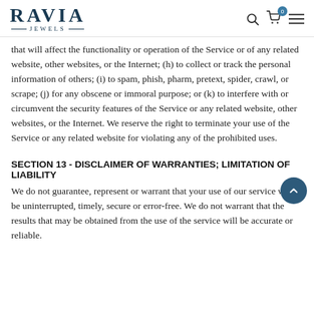RAVIA JEWELS
that will affect the functionality or operation of the Service or of any related website, other websites, or the Internet; (h) to collect or track the personal information of others; (i) to spam, phish, pharm, pretext, spider, crawl, or scrape; (j) for any obscene or immoral purpose; or (k) to interfere with or circumvent the security features of the Service or any related website, other websites, or the Internet. We reserve the right to terminate your use of the Service or any related website for violating any of the prohibited uses.
SECTION 13 - DISCLAIMER OF WARRANTIES; LIMITATION OF LIABILITY
We do not guarantee, represent or warrant that your use of our service will be uninterrupted, timely, secure or error-free. We do not warrant that the results that may be obtained from the use of the service will be accurate or reliable.